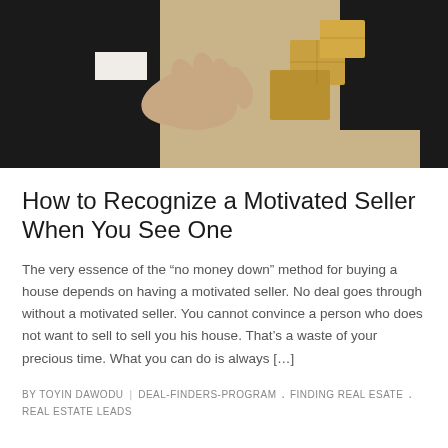[Figure (photo): Two people in business attire reaching hands toward each other, with cardboard boxes in the background on a warm beige surface.]
How to Recognize a Motivated Seller When You See One
The very essence of the “no money down” method for buying a house depends on having a motivated seller. No deal goes through without a motivated seller. You cannot convince a person who does not want to sell to sell you his house. That’s a waste of your precious time. What you can do is always […]
BY TOYIN DAWODU | DEAL-FINDERS-PROGRAM . FINDING REAL ESATE . REAL ESTATE LEADS